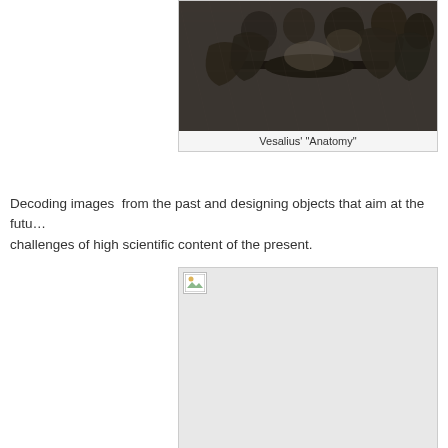[Figure (illustration): Woodcut engraving showing an anatomy dissection scene, Vesalius' 'Anatomy']
Vesalius' "Anatomy"
Decoding images  from the past and designing objects that aim at the future are challenges of high scientific content of the present.
[Figure (photo): Placeholder image - 'Jet Lag' from the 'HWD Corporation' series. Roger Ibars.]
"Jet Lag" from the "HWD Corporation" series. Roger Ibars.